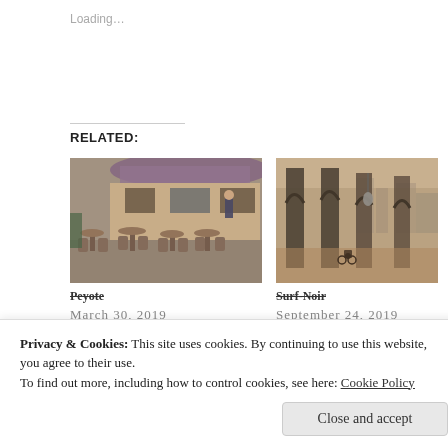Loading...
RELATED:
[Figure (photo): Outdoor cafe with wicker chairs and tables on a cobblestone street, colorful shops in background]
Peyote
March 30, 2019
In "Best Days"
[Figure (photo): Bridge pillars with archways, misty city view, bicycle rider visible in distance]
Surf-Noir
September 24, 2019
In "Thoughts"
[Figure (photo): Orange/amber colored partial image, partially visible]
Privacy & Cookies: This site uses cookies. By continuing to use this website, you agree to their use.
To find out more, including how to control cookies, see here: Cookie Policy
Close and accept